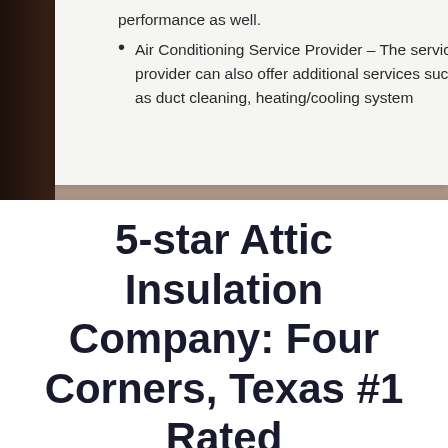[Figure (photo): Photo of a person holding a white paper/document, with dark background on the left side. The paper overlays the upper portion of the image showing text content.]
performance as well.
Air Conditioning Service Provider – The service provider can also offer additional services such as duct cleaning, heating/cooling system
5-star Attic Insulation Company: Four Corners, Texas #1 Rated